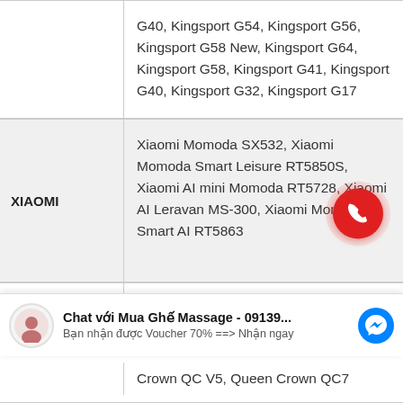| Brand | Products |
| --- | --- |
|  | G40, Kingsport G54, Kingsport G56, Kingsport G58 New, Kingsport G64, Kingsport G58, Kingsport G41, Kingsport G40, Kingsport G32, Kingsport G17 |
| XIAOMI | Xiaomi Momoda SX532, Xiaomi Momoda Smart Leisure RT5850S, Xiaomi AI mini Momoda RT5728, Xiaomi AI Leravan MS-300, Xiaomi Momoda Smart AI RT5863 |
|  | Queen Crown QC F5, Queen Crown QC LX7, Queen Crown QC LX3 Plus, Queen Crown QC7 Plus, |
|  | Crown QC V5, Queen Crown QC7 |
Chat với Mua Ghế Massage - 09139... Bạn nhận được Voucher 70% ==> Nhận ngay